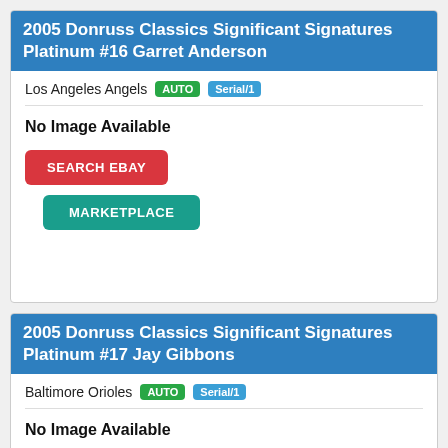2005 Donruss Classics Significant Signatures Platinum #16 Garret Anderson
Los Angeles Angels AUTO Serial/1
No Image Available
SEARCH EBAY
MARKETPLACE
2005 Donruss Classics Significant Signatures Platinum #17 Jay Gibbons
Baltimore Orioles AUTO Serial/1
No Image Available
SEARCH EBAY
MARKETPLACE